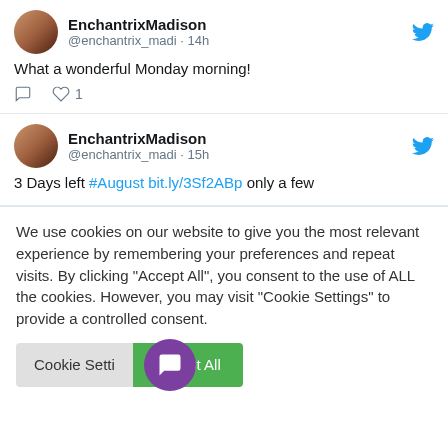[Figure (screenshot): Tweet from EnchantrixMadison: 'What a wonderful Monday morning!' with 1 like]
[Figure (screenshot): Tweet from EnchantrixMadison: '3 Days left #August bit.ly/3Sf2ABp only a few' with partial tweet visible]
We use cookies on our website to give you the most relevant experience by remembering your preferences and repeat visits. By clicking "Accept All", you consent to the use of ALL the cookies. However, you may visit "Cookie Settings" to provide a controlled consent.
Cookie Settings | Accept All